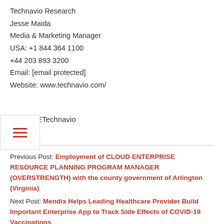Technavio Research
Jesse Maida
Media & Marketing Manager
USA: +1 844 364 1100
+44 203 893 3200
Email: [email protected]
Website: www.technavio.com/
SOURCETechnavio
Previous Post: Employment of CLOUD ENTERPRISE RESOURCE PLANNING PROGRAM MANAGER (OVERSTRENGTH) with the county government of Arlington (Virginia)
Next Post: Mendix Helps Leading Healthcare Provider Build Important Enterprise App to Track Side Effects of COVID-19 Vaccinations